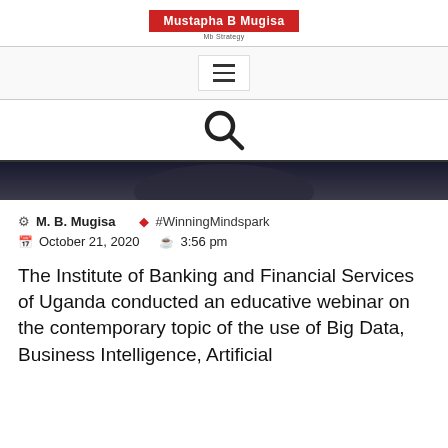Mustapha B Mugisa | Mb Strategy
[Figure (screenshot): Hamburger menu icon (three horizontal lines) in a bordered box]
[Figure (screenshot): Search icon (magnifying glass)]
[Figure (photo): Dark hero image strip — dark background, partial view of what appears to be a person in a dark setting]
M. B. Mugisa   #WinningMindspark   October 21, 2020   3:56 pm
The Institute of Banking and Financial Services of Uganda conducted an educative webinar on the contemporary topic of the use of Big Data, Business Intelligence, Artificial